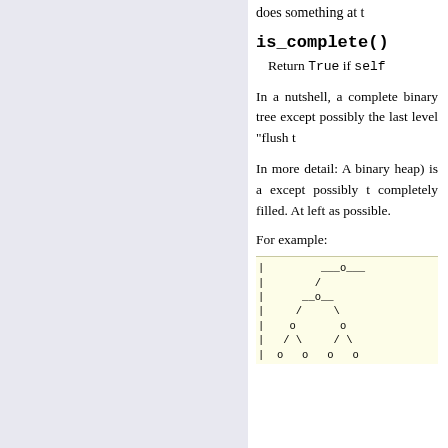does something at t
is_complete()
Return True if self
In a nutshell, a complete binary tree except possibly the last level “flush t
In more detail: A binary heap) is a except possibly t completely filled. At left as possible.
For example:
[Figure (illustration): ASCII diagram of a binary tree structure showing nodes represented as 'o' connected by lines, with dashed vertical line on the left]